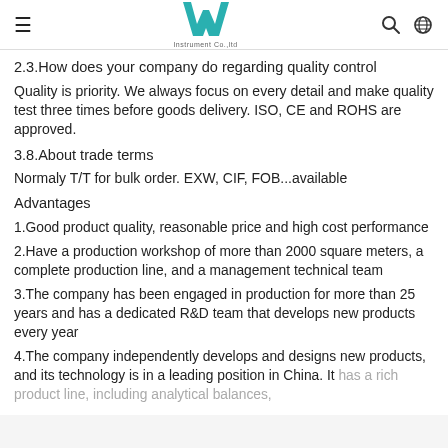≡   W Instrument Co., Ltd   🔍 🌐
2.3.How does your company do regarding quality control
Quality is priority. We always focus on every detail and make quality test three times before goods delivery. ISO, CE and ROHS are approved.
3.8.About trade terms
Normaly T/T for bulk order. EXW, CIF, FOB...available
Advantages
1.Good product quality, reasonable price and high cost performance
2.Have a production workshop of more than 2000 square meters, a complete production line, and a management technical team
3.The company has been engaged in production for more than 25 years and has a dedicated R&D team that develops new products every year
4.The company independently develops and designs new products, and its technology is in a leading position in China. It has a rich product line, including analytical balances,